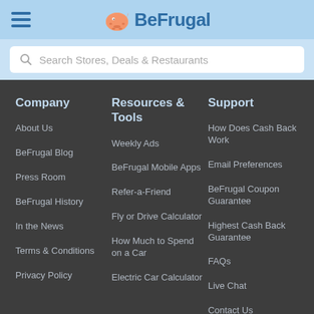BeFrugal
Search Stores, Deals & Restaurants
Company
About Us
BeFrugal Blog
Press Room
BeFrugal History
In the News
Terms & Conditions
Privacy Policy
Resources & Tools
Weekly Ads
BeFrugal Mobile Apps
Refer-a-Friend
Fly or Drive Calculator
How Much to Spend on a Car
Electric Car Calculator
Support
How Does Cash Back Work
Email Preferences
BeFrugal Coupon Guarantee
Highest Cash Back Guarantee
FAQs
Live Chat
Contact Us